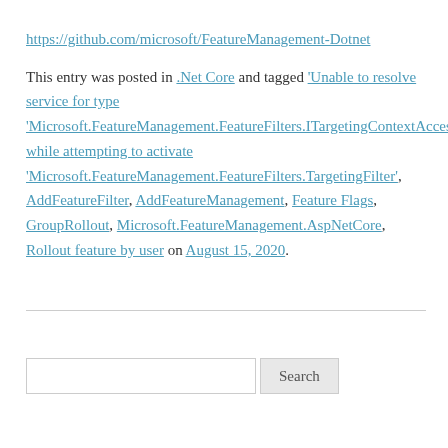https://github.com/microsoft/FeatureManagement-Dotnet
This entry was posted in .Net Core and tagged 'Unable to resolve service for type 'Microsoft.FeatureManagement.FeatureFilters.ITargetingContextAccessor' while attempting to activate 'Microsoft.FeatureManagement.FeatureFilters.TargetingFilter', AddFeatureFilter, AddFeatureManagement, Feature Flags, GroupRollout, Microsoft.FeatureManagement.AspNetCore, Rollout feature by user on August 15, 2020.